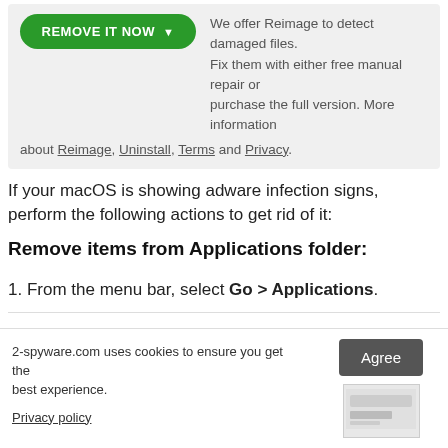We offer Reimage to detect damaged files. Fix them with either free manual repair or purchase the full version. More information about Reimage, Uninstall, Terms and Privacy.
If your macOS is showing adware infection signs, perform the following actions to get rid of it:
Remove items from Applications folder:
1. From the menu bar, select Go > Applications.
2. In the Applications folder, look for all related entries.
3. Click on the entry and then drag it to Trash or right-click and
2-spyware.com uses cookies to ensure you get the best experience.
Privacy policy
Agree